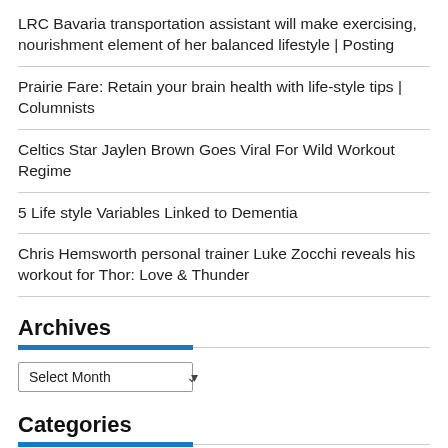LRC Bavaria transportation assistant will make exercising, nourishment element of her balanced lifestyle | Posting
Prairie Fare: Retain your brain health with life-style tips | Columnists
Celtics Star Jaylen Brown Goes Viral For Wild Workout Regime
5 Life style Variables Linked to Dementia
Chris Hemsworth personal trainer Luke Zocchi reveals his workout for Thor: Love & Thunder
Archives
Categories